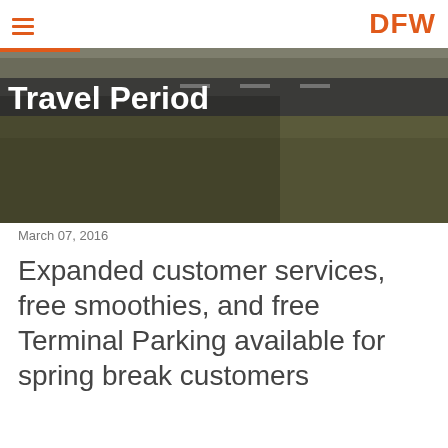DFW
[Figure (photo): Aerial photo of airport runway with grass field in the foreground, overlaid with title text 'Travel Period']
Travel Period
March 07, 2016
Expanded customer services, free smoothies, and free Terminal Parking available for spring break customers